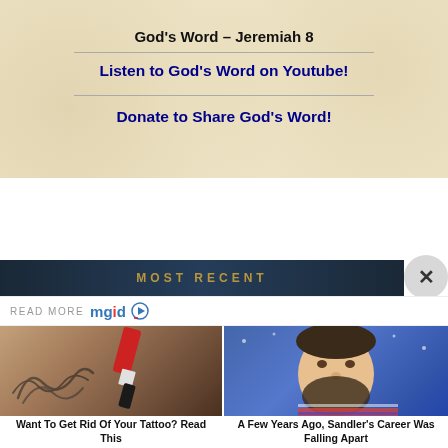God's Word – Jeremiah 8
Listen to God's Word on Youtube!
Donate to Share God's Word!
MOST RECENT
READ MORE mgid
[Figure (photo): Tattoo removal laser procedure on skin with tattoo]
Want To Get Rid Of Your Tattoo? Read This
[Figure (photo): Man with beard (Adam Sandler) in striped shirt on blue background]
A Few Years Ago, Sandler's Career Was Falling Apart